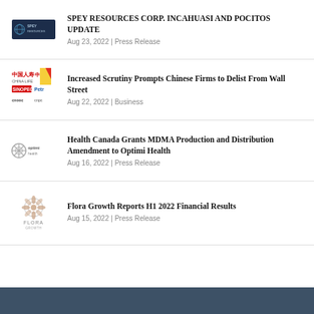[Figure (logo): Spey Resources Corp logo – dark blue rectangle with circular globe icon and white text]
SPEY RESOURCES CORP. INCAHUASI AND POCITOS UPDATE
Aug 23, 2022 | Press Release
[Figure (logo): Collage of Chinese company logos: China Life (中国人寿), Sinopec, PetroChina, CNOOC, CNPC]
Increased Scrutiny Prompts Chinese Firms to Delist From Wall Street
Aug 22, 2022 | Business
[Figure (logo): Optimi Health logo – grey circular gear/snowflake icon with text 'optimihealth']
Health Canada Grants MDMA Production and Distribution Amendment to Optimi Health
Aug 16, 2022 | Press Release
[Figure (logo): Flora Growth logo – ornate floral emblem with text FLORA below]
Flora Growth Reports H1 2022 Financial Results
Aug 15, 2022 | Press Release